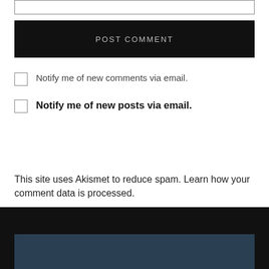[input box]
POST COMMENT
Notify me of new comments via email.
Notify me of new posts via email.
This site uses Akismet to reduce spam. Learn how your comment data is processed.
[Figure (photo): Dark footer area with a dark blue image panel at the bottom]